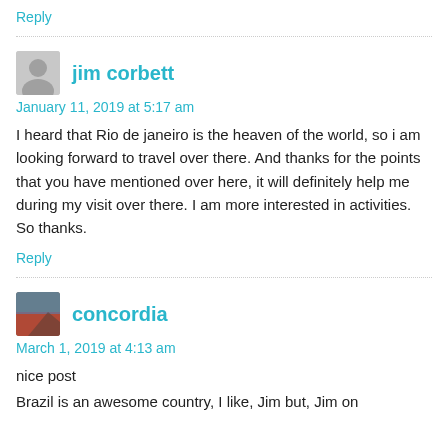Reply
jim corbett
January 11, 2019 at 5:17 am
I heard that Rio de janeiro is the heaven of the world, so i am looking forward to travel over there. And thanks for the points that you have mentioned over here, it will definitely help me during my visit over there. I am more interested in activities. So thanks.
Reply
concordia
March 1, 2019 at 4:13 am
nice post
Brazil is an awesome country, I like, Jim but, Jim on